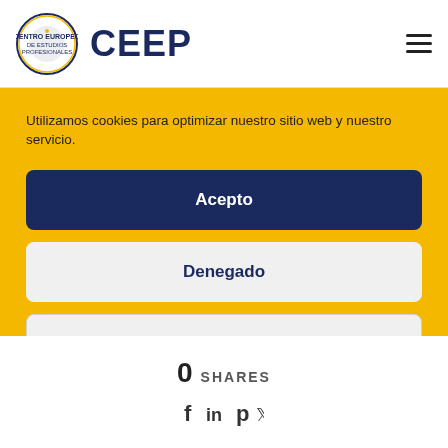[Figure (logo): CEEP logo with circular emblem and bold blue CEEP text, hamburger menu icon on right]
Utilizamos cookies para optimizar nuestro sitio web y nuestro servicio.
Acepto
Denegado
Preferencias
Política de Cookies  Política de privacidad
0  SHARES
[Figure (illustration): Social media icons: Facebook (f), LinkedIn (in), Pinterest (p), Twitter (bird/t)]